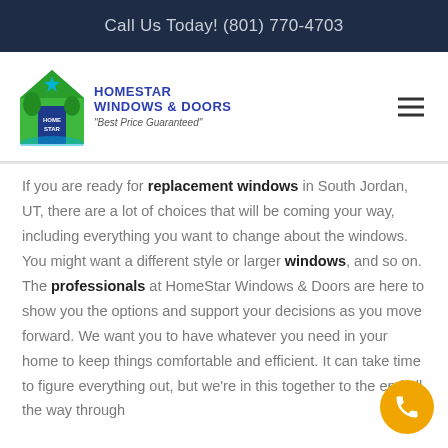Call Us Today! (801) 770-4703
[Figure (logo): HomeStar Windows & Doors logo with green house icon and blue text reading HOMESTAR WINDOWS & DOORS with tagline Best Price Guaranteed]
If you are ready for replacement windows in South Jordan, UT, there are a lot of choices that will be coming your way, including everything you want to change about the windows. You might want a different style or larger windows, and so on. The professionals at HomeStar Windows & Doors are here to show you the options and support your decisions as you move forward. We want you to have whatever you need in your home to keep things comfortable and efficient. It can take time to figure everything out, but we're in this together to the end all the way through